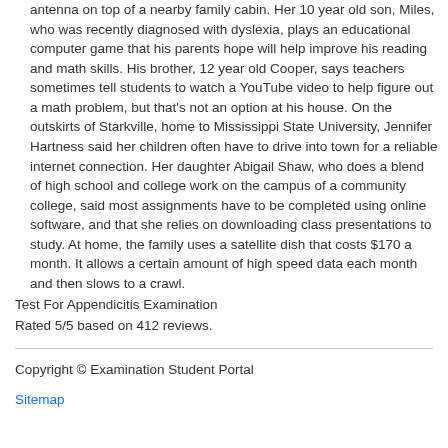antenna on top of a nearby family cabin. Her 10 year old son, Miles, who was recently diagnosed with dyslexia, plays an educational computer game that his parents hope will help improve his reading and math skills. His brother, 12 year old Cooper, says teachers sometimes tell students to watch a YouTube video to help figure out a math problem, but that's not an option at his house. On the outskirts of Starkville, home to Mississippi State University, Jennifer Hartness said her children often have to drive into town for a reliable internet connection. Her daughter Abigail Shaw, who does a blend of high school and college work on the campus of a community college, said most assignments have to be completed using online software, and that she relies on downloading class presentations to study. At home, the family uses a satellite dish that costs $170 a month. It allows a certain amount of high speed data each month and then slows to a crawl.
Test For Appendicitis Examination
Rated 5/5 based on 412 reviews.
Copyright © Examination Student Portal
Sitemap